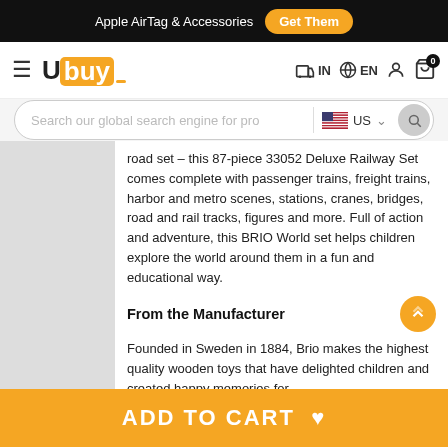Apple AirTag & Accessories  Get Them
[Figure (logo): Ubuy logo with orange square and hamburger menu, navigation icons for IN country, EN language, user account, and shopping cart with badge 0]
[Figure (screenshot): Search bar with placeholder text 'Search our global search engine for pro', US country selector, and search button]
road set – this 87-piece 33052 Deluxe Railway Set comes complete with passenger trains, freight trains, harbor and metro scenes, stations, cranes, bridges, road and rail tracks, figures and more. Full of action and adventure, this BRIO World set helps children explore the world around them in a fun and educational way.
From the Manufacturer
Founded in Sweden in 1884, Brio makes the highest quality wooden toys that have delighted children and created happy memories for
ADD TO CART